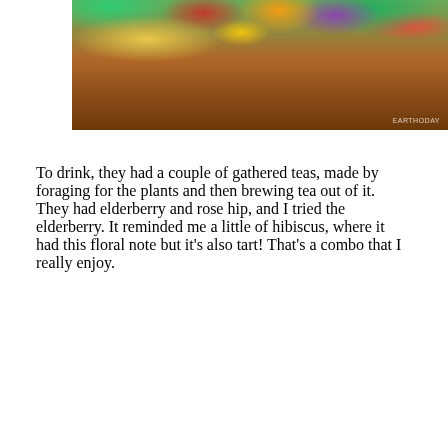[Figure (photo): Close-up of a wooden bowl filled with colorful edible flowers and greens including orange nasturtiums, yellow flowers, purple violas, and green leaves. Warm wooden bowl visible at bottom.]
To drink, they had a couple of gathered teas, made by foraging for the plants and then brewing tea out of it. They had elderberry and rose hip, and I tried the elderberry. It reminded me a little of hibiscus, where it had this floral note but it’s also tart! That’s a combo that I really enjoy.
[Figure (photo): Photo of mason jars and glass containers filled with teas on a table. Labels on the jars read 'Rose hip' and 'čisnay Elderberry'. A person in a grey sweater is visible in the background holding a card.]